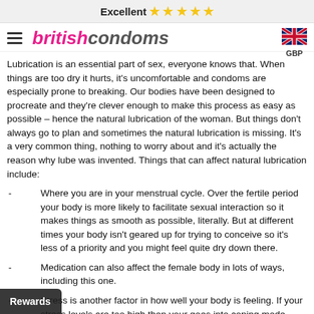Excellent ⭐⭐⭐⭐⭐
[Figure (logo): British Condoms logo with hamburger menu icon and UK flag with GBP currency selector]
Lubrication is an essential part of sex, everyone knows that. When things are too dry it hurts, it's uncomfortable and condoms are especially prone to breaking. Our bodies have been designed to procreate and they're clever enough to make this process as easy as possible – hence the natural lubrication of the woman. But things don't always go to plan and sometimes the natural lubrication is missing. It's a very common thing, nothing to worry about and it's actually the reason why lube was invented. Things that can affect natural lubrication include:
Where you are in your menstrual cycle. Over the fertile period your body is more likely to facilitate sexual interaction so it makes things as smooth as possible, literally. But at different times your body isn't geared up for trying to conceive so it's less of a priority and you might feel quite dry down there.
Medication can also affect the female body in lots of ways, including this one.
Stress is another factor in how well your body is feeling. If your stress levels are too high then your goes into coping mode which doesn't mean that it feels up for conception just now.